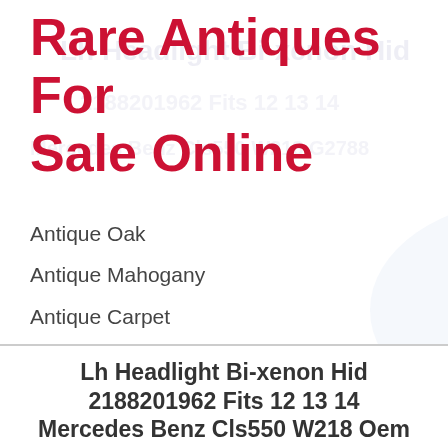Rare Antiques For Sale Online
Antique Oak
Antique Mahogany
Antique Carpet
Antique Painting
Antique Glass
Antique Plate
Lh Headlight Bi-xenon Hid 2188201962 Fits 12 13 14 Mercedes Benz Cls550 W218 Oem